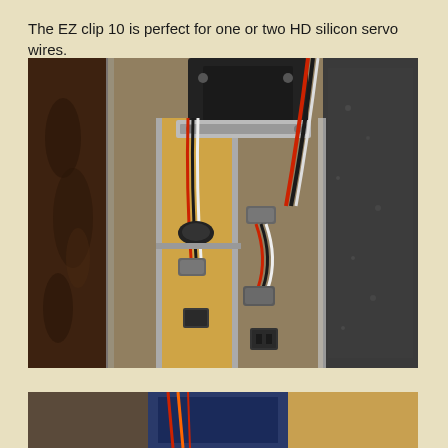The EZ clip 10 is perfect for one or two HD silicon servo wires.
[Figure (photo): Close-up photograph showing servo wires held by EZ clip 10 clamps mounted on a wooden/plywood frame structure. The image shows gray servo wire clips holding red, black and white wires, with a black motor or servo visible at the top, and dark textured material on the right side.]
[Figure (photo): Partial view of another photo at the bottom of the page showing electronic components and wiring.]